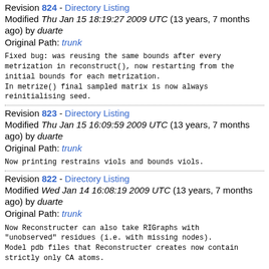Revision 824 - Directory Listing
Modified Thu Jan 15 18:19:27 2009 UTC (13 years, 7 months ago) by duarte
Original Path: trunk
Fixed bug: was reusing the same bounds after every metrization in reconstruct(), now restarting from the initial bounds for each metrization.
In metrize() final sampled matrix is now always reinitialising seed.
Revision 823 - Directory Listing
Modified Thu Jan 15 16:09:59 2009 UTC (13 years, 7 months ago) by duarte
Original Path: trunk
Now printing restrains viols and bounds viols.
Revision 822 - Directory Listing
Modified Wed Jan 14 16:08:19 2009 UTC (13 years, 7 months ago) by duarte
Original Path: trunk
Now Reconstructer can also take RIGraphs with "unobserved" residues (i.e. with missing nodes).
Model pdb files that Reconstructer creates now contain strictly only CA atoms.